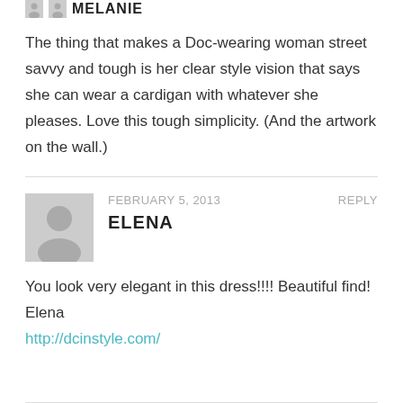MELANIE
The thing that makes a Doc-wearing woman street savvy and tough is her clear style vision that says she can wear a cardigan with whatever she pleases. Love this tough simplicity. (And the artwork on the wall.)
FEBRUARY 5, 2013   REPLY
ELENA
You look very elegant in this dress!!!! Beautiful find!
Elena
http://dcinstyle.com/